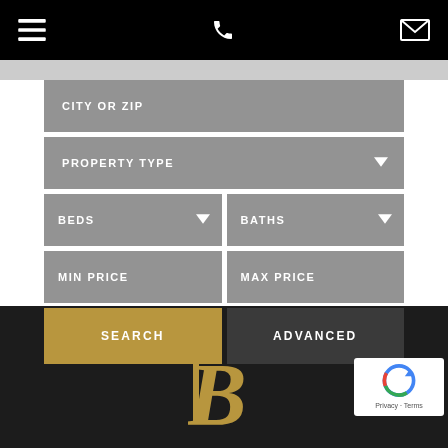Navigation bar with menu, phone, and email icons
[Figure (screenshot): Property search form UI with fields: City or Zip, Property Type (dropdown), Beds (dropdown), Baths (dropdown), Min Price, Max Price, Search button, Advanced button]
[Figure (logo): Decorative 'B' logo in gold on dark footer background]
[Figure (other): reCAPTCHA badge with Privacy and Terms links]